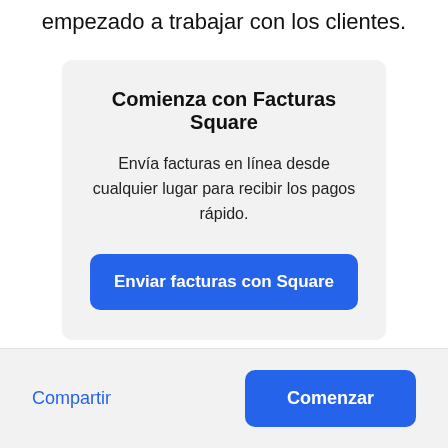empezado a trabajar con los clientes.
Comienza con Facturas Square
Envía facturas en línea desde cualquier lugar para recibir los pagos rápido.
Enviar facturas con Square
Compartir
Comenzar